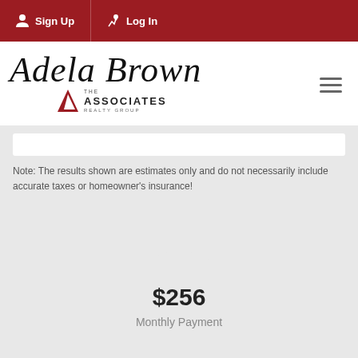Sign Up | Log In
[Figure (logo): Adela Brown - The Associates Realty Group logo]
Note: The results shown are estimates only and do not necessarily include accurate taxes or homeowner's insurance!
[Figure (donut-chart): Donut chart showing $256 Monthly Payment]